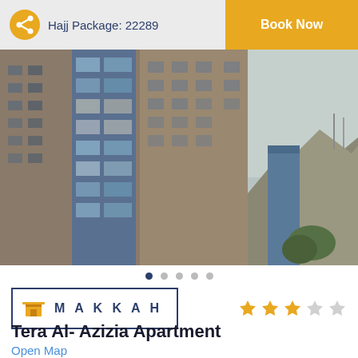Hajj Package: 22289
[Figure (photo): Exterior photo of a tall multi-story apartment/hotel building with reflective blue glass windows and beige stone facade, with clear sky and mountains visible in the background (Makkah urban area)]
MAKKAH
Tera Al- Azizia Apartment
Open Map